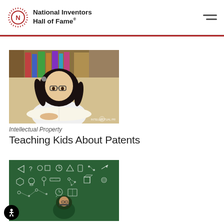National Inventors Hall of Fame®
[Figure (photo): Young Asian girl with glasses and pigtails reading a large open book in a library, with bookshelves in the background. Watermark text 'INTELLECTUAL PR' visible in bottom right.]
Intellectual Property
Teaching Kids About Patents
[Figure (photo): Chalkboard with hand-drawn icons and diagrams related to science, education and invention concepts on a green background, partially visible person in foreground.]